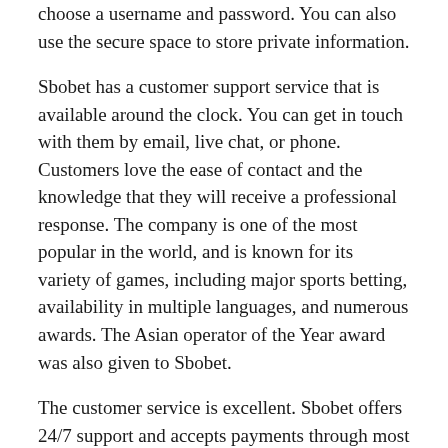choose a username and password. You can also use the secure space to store private information.
Sbobet has a customer support service that is available around the clock. You can get in touch with them by email, live chat, or phone. Customers love the ease of contact and the knowledge that they will receive a professional response. The company is one of the most popular in the world, and is known for its variety of games, including major sports betting, availability in multiple languages, and numerous awards. The Asian operator of the Year award was also given to Sbobet.
The customer service is excellent. Sbobet offers 24/7 support and accepts payments through most national banks. The website is easy to use and offers excellent customer service. You can also deposit cash with Sbobet. There are a variety of deposit and withdrawal methods available, including credit and debit cards. This makes it